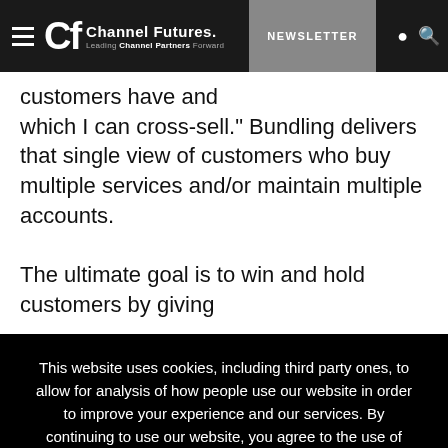Channel Futures. Leading Channel Partners Forward. NEWSLETTER
customers have and which I can cross-sell." Bundling delivers that single view of customers who buy multiple services and/or maintain multiple accounts.

The ultimate goal is to win and hold customers by giving
This website uses cookies, including third party ones, to allow for analysis of how people use our website in order to improve your experience and our services. By continuing to use our website, you agree to the use of such cookies. Click here for more information on our Cookie Policy and Privacy Policy.